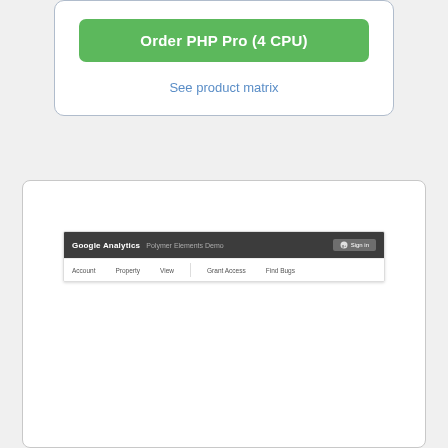[Figure (screenshot): A green button labeled 'Order PHP Pro (4 CPU)' and a 'See product matrix' link inside a white card with border]
[Figure (screenshot): A large white card containing a screenshot of a Google Analytics interface showing a dark top navigation bar with 'Google Analytics | Polymer Elements Demo' text and a Sign In button, and a navigation row with Account, Property, View, Grant Access, and Find Bugs columns]